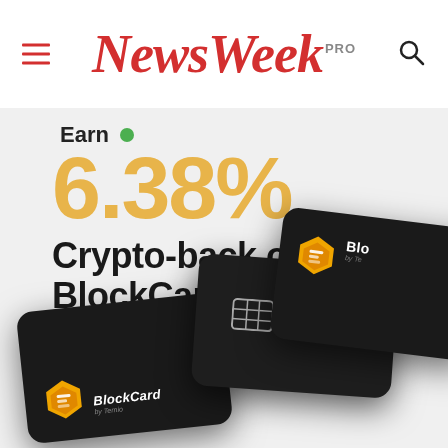NewsWeek PRO
[Figure (infographic): BlockCard advertisement showing 6.38% crypto-back offer with three dark credit cards featuring the BlockCard by Ternio logo]
Earn 6.38% Crypto-back on BlockCard. Works with BTC ETH XRP and 12+ cryptocurrencies